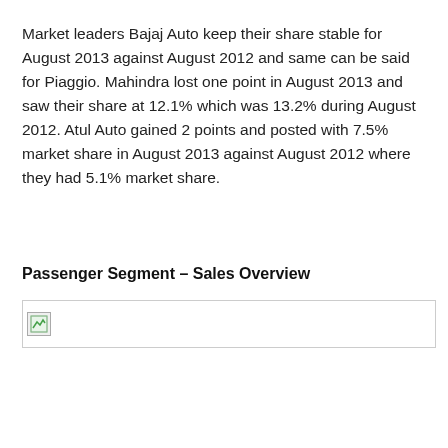Market leaders Bajaj Auto keep their share stable for August 2013 against August 2012 and same can be said for Piaggio. Mahindra lost one point in August 2013 and saw their share at 12.1% which was 13.2% during August 2012. Atul Auto gained 2 points and posted with 7.5% market share in August 2013 against August 2012 where they had 5.1% market share.
Passenger Segment – Sales Overview
[Figure (other): Broken image placeholder for Passenger Segment Sales Overview chart]